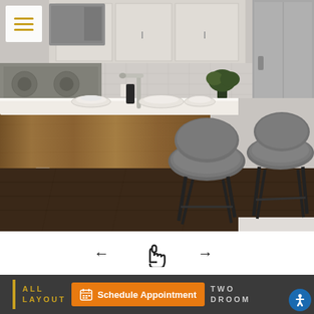[Figure (photo): Interior photo of a modern apartment kitchen featuring a wooden kitchen island with white quartz countertop, two gray upholstered bar stools with black metal legs, stainless steel appliances in the background, white upper cabinets, and dark hardwood floors.]
[Figure (infographic): Navigation control showing left arrow, pointing hand cursor icon, and right arrow for image carousel navigation.]
[Figure (infographic): Bottom navigation bar with gold vertical bar, gold text reading ALL LAYOUT, orange Schedule Appointment button with calendar icon, and partially visible TWO BEDROOM text. Blue accessibility icon in bottom right corner.]